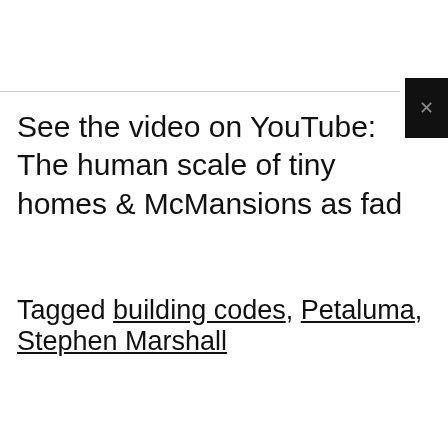See the video on YouTube: The human scale of tiny homes & McMansions as fad
Tagged building codes, Petaluma, Stephen Marshall